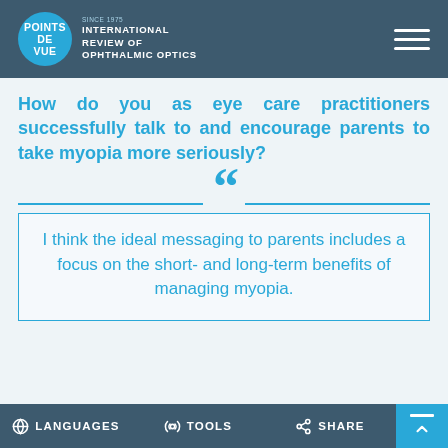POINTS DE VUE — INTERNATIONAL REVIEW OF OPHTHALMIC OPTICS
How do you as eye care practitioners successfully talk to and encourage parents to take myopia more seriously?
I think the ideal messaging to parents includes a focus on the short- and long-term benefits of managing myopia.
LANGUAGES   TOOLS   SHARE